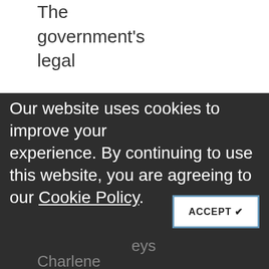The government's legal
team
Our website uses cookies to improve your experience. By continuing to use this website, you are agreeing to our Cookie Policy.
lement
eys
Charlene